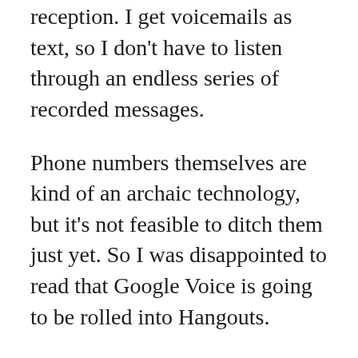reception. I get voicemails as text, so I don't have to listen through an endless series of recorded messages.
Phone numbers themselves are kind of an archaic technology, but it's not feasible to ditch them just yet. So I was disappointed to read that Google Voice is going to be rolled into Hangouts.
That's Google's prerogative. Any silo service provider could make a similar decision at any time. So the question becomes: how can I create my own Google Voice setup on my own infrastructure?